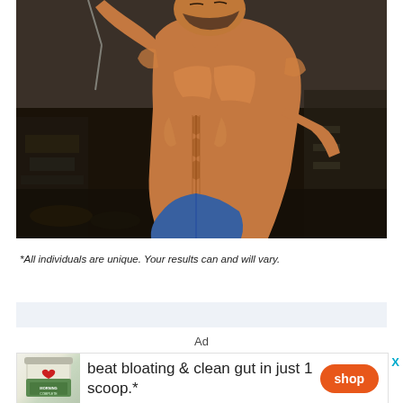[Figure (photo): Muscular shirtless male bodybuilder in gym performing a lat pulldown exercise, wearing blue shorts, with gym equipment visible in background]
*All individuals are unique. Your results can and will vary.
Ad
[Figure (infographic): Advertisement banner for a supplement product (Morning Complete) showing a green-labeled jar with a red heart logo, text reading 'beat bloating & clean gut in just 1 scoop.*' and an orange shop button]